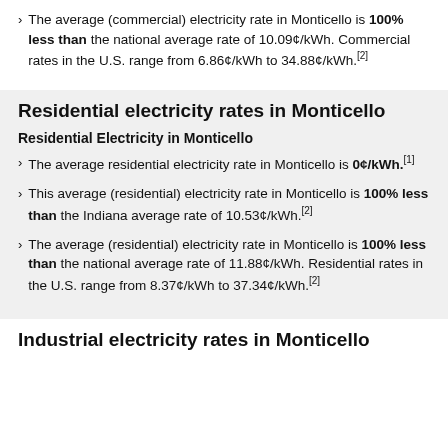The average (commercial) electricity rate in Monticello is 100% less than the national average rate of 10.09¢/kWh. Commercial rates in the U.S. range from 6.86¢/kWh to 34.88¢/kWh.[2]
Residential electricity rates in Monticello
Residential Electricity in Monticello
The average residential electricity rate in Monticello is 0¢/kWh.[1]
This average (residential) electricity rate in Monticello is 100% less than the Indiana average rate of 10.53¢/kWh.[2]
The average (residential) electricity rate in Monticello is 100% less than the national average rate of 11.88¢/kWh. Residential rates in the U.S. range from 8.37¢/kWh to 37.34¢/kWh.[2]
Industrial electricity rates in Monticello